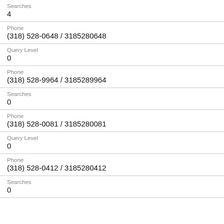| Field | Value |
| --- | --- |
| Searches | 4 |
| Phone | (318) 528-0648 / 3185280648 |
| Query Level | 0 |
| Phone | (318) 528-9964 / 3185289964 |
| Searches | 0 |
| Phone | (318) 528-0081 / 3185280081 |
| Query Level | 0 |
| Phone | (318) 528-0412 / 3185280412 |
| Searches | 0 |